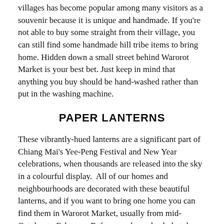villages has become popular among many visitors as a souvenir because it is unique and handmade. If you're not able to buy some straight from their village, you can still find some handmade hill tribe items to bring home. Hidden down a small street behind Warorot Market is your best bet. Just keep in mind that anything you buy should be hand-washed rather than put in the washing machine.
PAPER LANTERNS
These vibrantly-hued lanterns are a significant part of Chiang Mai's Yee-Peng Festival and New Year celebrations, when thousands are released into the sky in a colourful display.  All of our homes and neighbourhoods are decorated with these beautiful lanterns, and if you want to bring one home you can find them in Warorot Market, usually from mid-October to February. Before you buy, check that the paper is in good condition and make sure whatever you choose can fit in your luggage; some of